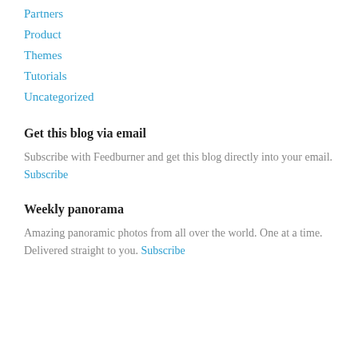Partners
Product
Themes
Tutorials
Uncategorized
Get this blog via email
Subscribe with Feedburner and get this blog directly into your email. Subscribe
Weekly panorama
Amazing panoramic photos from all over the world. One at a time. Delivered straight to you. Subscribe